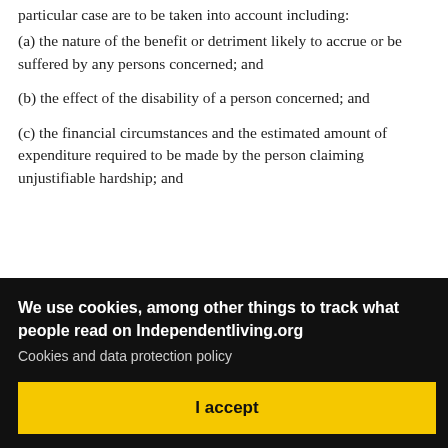particular case are to be taken into account including:
(a) the nature of the benefit or detriment likely to accrue or be suffered by any persons concerned; and
(b) the effect of the disability of a person concerned; and
(c) the financial circumstances and the estimated amount of expenditure required to be made by the person claiming unjustifiable hardship; and
[Figure (screenshot): Cookie consent overlay with text 'We use cookies, among other things to track what people read on Independentliving.org', a 'Cookies and data protection policy' link, and an 'I accept' button on black background.]
discriminated against the complainant in providing to the